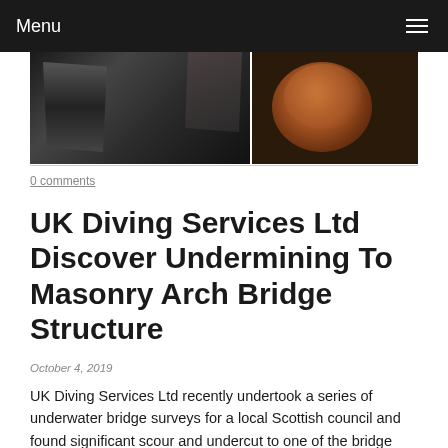Menu
[Figure (photo): Two underwater/underwater inspection photos side by side: left shows dark cave-like bridge structure, right shows a brownish circular structure (bridge pier or similar masonry element)]
0 comments
UK Diving Services Ltd Discover Undermining To Masonry Arch Bridge Structure
October 4, 2019
UK Diving Services Ltd recently undertook a series of underwater bridge surveys for a local Scottish council and found significant scour and undercut to one of the bridge piers. All data was recorded in accordance with the Roads & Bridges Manual BR30/17 and BR 37/12